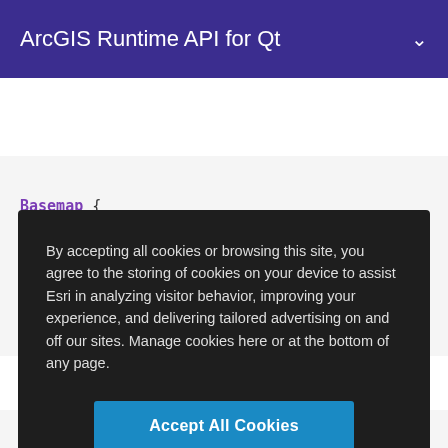ArcGIS Runtime API for Qt
[Figure (screenshot): Code snippet showing QML/Qt code with Basemap and ArcGISVectorTiledLayer components, with a url property referencing dataPath + 'vtpk/LosAngeles.']
By accepting all cookies or browsing this site, you agree to the storing of cookies on your device to assist Esri in analyzing visitor behavior, improving your experience, and delivering tailored advertising on and off our sites. Manage cookies here or at the bottom of any page.
Accept All Cookies
Cookies Settings